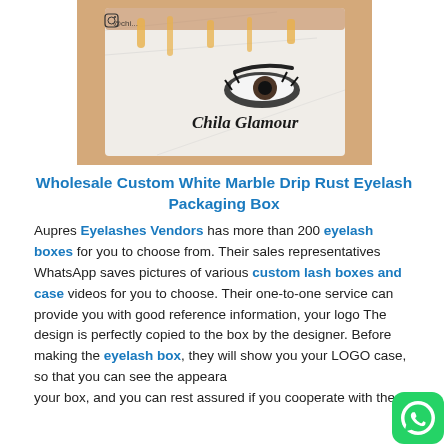[Figure (photo): Product photo of a white marble drip rust eyelash packaging box with rose gold accents and 'Chila Glamour' branding, showing eye/lash graphics and an Instagram handle.]
Wholesale Custom White Marble Drip Rust Eyelash Packaging Box
Aupres Eyelashes Vendors has more than 200 eyelash boxes for you to choose from. Their sales representatives WhatsApp saves pictures of various custom lash boxes and case videos for you to choose. Their one-to-one service can provide you with good reference information, your logo The design is perfectly copied to the box by the designer. Before making the eyelash box, they will show you your LOGO case, so that you can see the appearance of your box, and you can rest assured if you cooperate with them.
[Figure (logo): WhatsApp green rounded square button icon in the bottom right corner.]